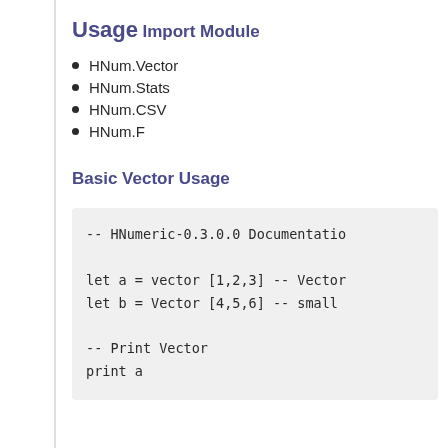Usage
Import Module
HNum.Vector
HNum.Stats
HNum.CSV
HNum.F
Basic Vector Usage
-- HNumeric-0.3.0.0 Documentatio

let a = vector [1,2,3] -- Vector
let b = Vector [4,5,6] -- small

-- Print Vector
print a